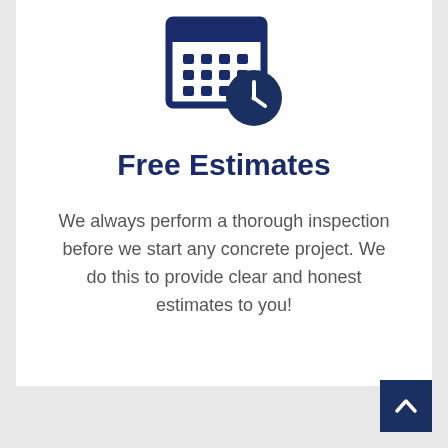[Figure (illustration): Icon of a calendar with a clock overlay, in dark navy blue color]
Free Estimates
We always perform a thorough inspection before we start any concrete project. We do this to provide clear and honest estimates to you!
[Figure (illustration): Dark navy blue square button with a white upward-pointing chevron arrow, used as a scroll-to-top button]